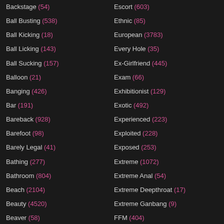Backstage (54)
Ball Busting (538)
Ball Kicking (18)
Ball Licking (143)
Ball Sucking (157)
Balloon (21)
Banging (426)
Bar (191)
Bareback (928)
Barefoot (98)
Barely Legal (41)
Bathing (277)
Bathroom (804)
Beach (2104)
Beauty (4520)
Beaver (58)
Escort (603)
Ethnic (85)
European (3783)
Every Hole (35)
Ex-Girlfriend (445)
Exam (66)
Exhibitionist (129)
Exotic (492)
Experienced (223)
Exploited (228)
Exposed (253)
Extreme (1072)
Extreme Anal (54)
Extreme Deepthroat (17)
Extreme Ganbang (9)
FFM (404)